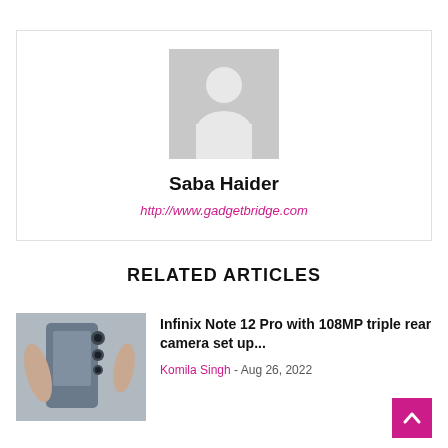[Figure (illustration): Default user avatar placeholder — grey silhouette of a person on white background]
Saba Haider
http://www.gadgetbridge.com
RELATED ARTICLES
[Figure (photo): A hand holding a smartphone — Infinix Note 12 Pro — showing its rear camera setup]
Infinix Note 12 Pro with 108MP triple rear camera set up...
Komila Singh - Aug 26, 2022